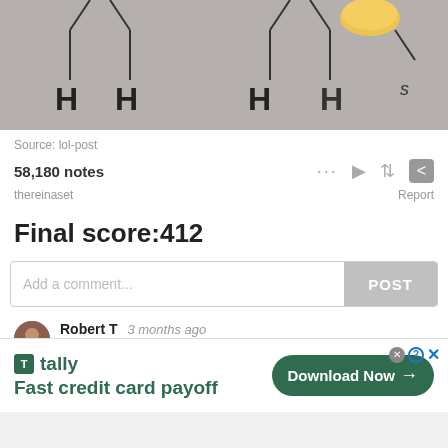[Figure (illustration): Chemical structure drawing on gray background showing H atoms connected with bonds, partial view of molecular diagram]
Source: lol-post
58,180 notes
thereinaset   Report
Final score:412
Add a comment...  POST
Robert T  3 months ago
I laughed way too hard at this!
↑ 101 ↓ Reply
[Figure (screenshot): Advertisement banner for Tally app — Fast credit card payoff — Download Now button]